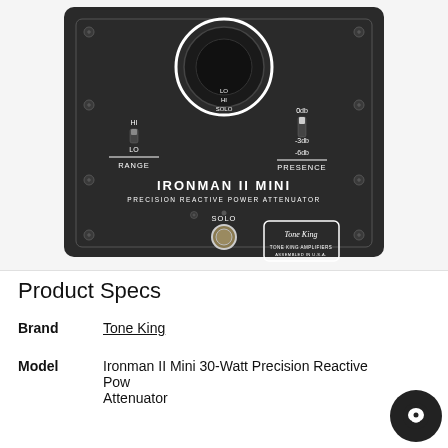[Figure (photo): Photo of the Tone King Ironman II Mini Precision Reactive Power Attenuator, showing the front panel with a large knob, RANGE toggle switch (HI/LO), PRESENCE toggle switch (0db/-3db/-6db), SOLO footswitch, Tone King Amplifiers logo, and product name IRONMAN II MINI printed on a dark metal chassis.]
Product Specs
Brand	Tone King
Model	Ironman II Mini 30-Watt Precision Reactive Power Attenuator